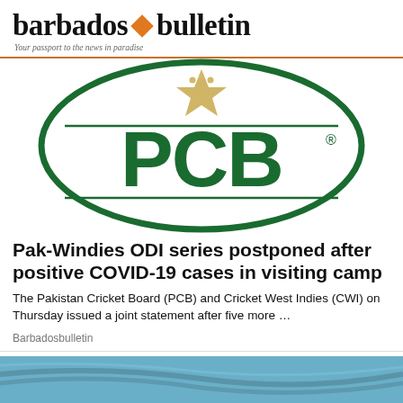barbados bulletin — Your passport to the news in paradise
[Figure (logo): PCB (Pakistan Cricket Board) logo — green circle border with gold star emblem at top and large green PCB text with registered trademark symbol]
Pak-Windies ODI series postponed after positive COVID-19 cases in visiting camp
The Pakistan Cricket Board (PCB) and Cricket West Indies (CWI) on Thursday issued a joint statement after five more …
Barbadosbulletin
[Figure (photo): Partial photo visible at bottom of page showing what appears to be an aerial or close-up view with blue tones]